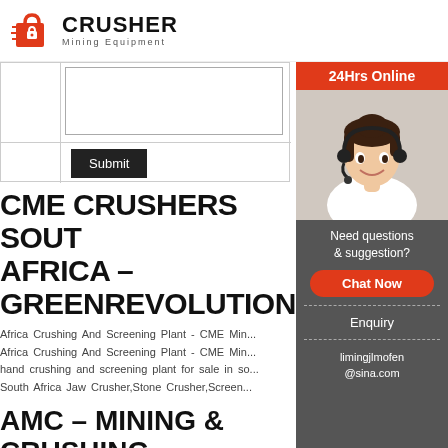[Figure (logo): Crusher Mining Equipment logo with red shopping bag icon and bold CRUSHER text]
[Figure (screenshot): Web form with textarea and Submit button]
CME CRUSHERS SOUTH AFRICA – GREENREVOLUTION.OR
Africa Crushing And Screening Plant - CME Min... Africa Crushing And Screening Plant - CME Min... hand crushing and screening plant for sale in so... South Africa Jaw Crusher,Stone Crusher,Screen...
AMC – MINING & CRUSHING
[Figure (photo): 24Hrs Online sidebar with photo of smiling female customer service agent wearing headset, Need questions & suggestion?, Chat Now button, Enquiry link, limingjlmofen@sina.com email]